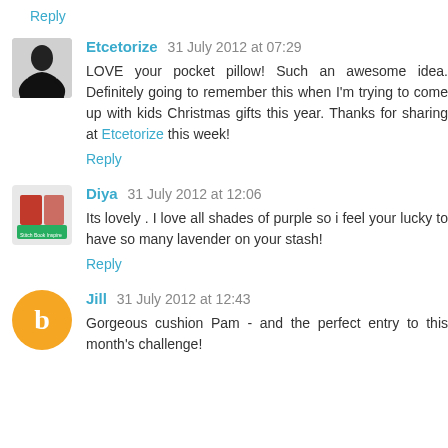Reply
Etcetorize 31 July 2012 at 07:29
LOVE your pocket pillow! Such an awesome idea. Definitely going to remember this when I'm trying to come up with kids Christmas gifts this year. Thanks for sharing at Etcetorize this week!
Reply
Diya 31 July 2012 at 12:06
Its lovely . I love all shades of purple so i feel your lucky to have so many lavender on your stash!
Reply
Jill 31 July 2012 at 12:43
Gorgeous cushion Pam - and the perfect entry to this month's challenge!